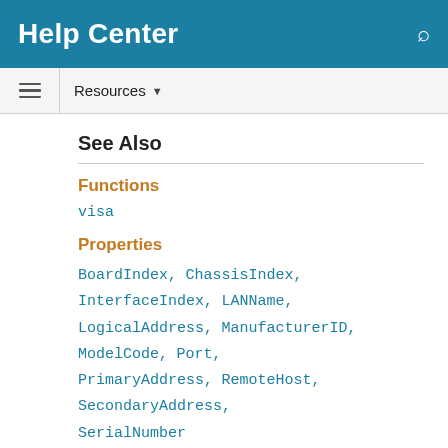Help Center
See Also
Functions
visa
Properties
BoardIndex, ChassisIndex, InterfaceIndex, LANName, LogicalAddress, ManufacturerID, ModelCode, Port, PrimaryAddress, RemoteHost, SecondaryAddress, SerialNumber
How useful was this information?